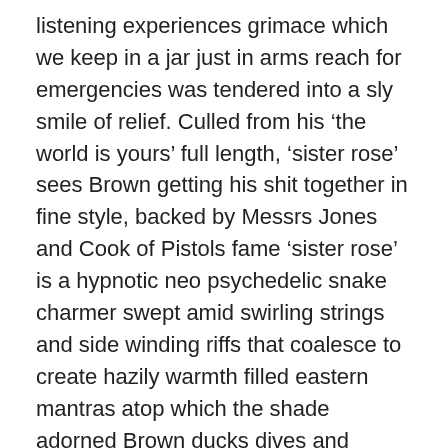listening experiences grimace which we keep in a jar just in arms reach for emergencies was tendered into a sly smile of relief. Culled from his ‘the world is yours’ full length, ‘sister rose’ sees Brown getting his shit together in fine style, backed by Messrs Jones and Cook of Pistols fame ‘sister rose’ is a hypnotic neo psychedelic snake charmer swept amid swirling strings and side winding riffs that coalesce to create hazily warmth filled eastern mantras atop which the shade adorned Brown ducks dives and shimmies with cool reproach.
Kate Nash ‘Pumpkin Soup’ (Fiction). Rounding off what’s been a pretty phenomenal year for Ms Nash that begun being a struggling unknown armed with a sackful of quirky tunes that quickly rooted themselves in the nations psyche with forest fire spreading word of mouth culminating in a hit album ‘made of bricks’ and a shed load of awards